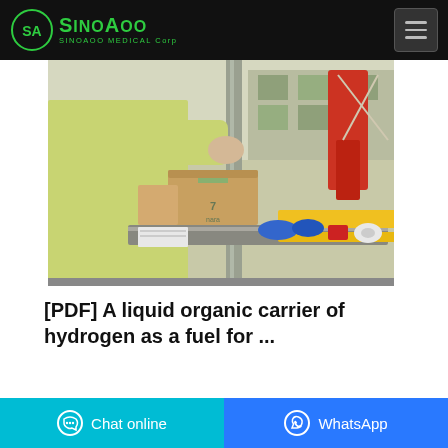SinoAoo Medical Corp — navigation bar
[Figure (photo): Warehouse/packaging scene: a worker in a yellow protective gown handling cardboard boxes on a conveyor belt with industrial packaging machinery, blue gloves and red/white items visible on the belt]
[PDF] A liquid organic carrier of hydrogen as a fuel for ...
1. The use of a liquid organic carrier of
Chat online   WhatsApp